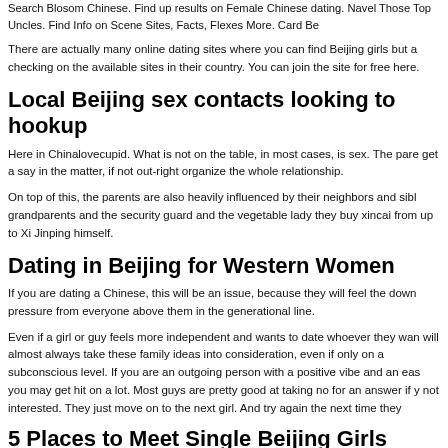Search Blosom Chinese. Find up results on Female Chinese dating. Navel Those Top Uncles. Find Info on Scene Sites, Facts, Flexes More. Card Be
There are actually many online dating sites where you can find Beijing girls but a checking on the available sites in their country. You can join the site for free here.
Local Beijing sex contacts looking to hookup
Here in Chinalovecupid. What is not on the table, in most cases, is sex. The pare get a say in the matter, if not out-right organize the whole relationship.
On top of this, the parents are also heavily influenced by their neighbors and sibl grandparents and the security guard and the vegetable lady they buy xincai from up to Xi Jinping himself.
Dating in Beijing for Western Women
If you are dating a Chinese, this will be an issue, because they will feel the down pressure from everyone above them in the generational line.
Even if a girl or guy feels more independent and wants to date whoever they wan will almost always take these family ideas into consideration, even if only on a subconscious level. If you are an outgoing person with a positive vibe and an eas you may get hit on a lot. Most guys are pretty good at taking no for an answer if y not interested. They just move on to the next girl. And try again the next time they
5 Places to Meet Single Beijing Girls